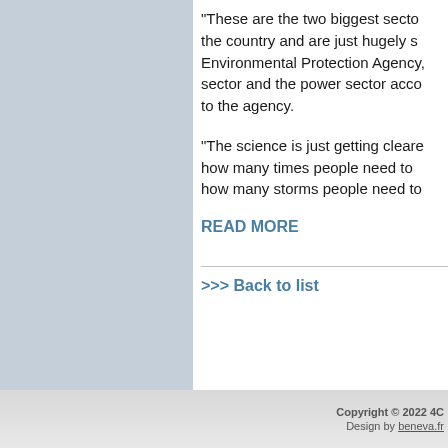“These are the two biggest sectors in the country and are just hugely significant. Environmental Protection Agency, the transportation sector and the power sector account for … to the agency.
“The science is just getting clearer and clearer … how many times people need to … how many storms people need to …
READ MORE
>>> Back to list
Copyright © 2022 4C… Design by beneva.fr